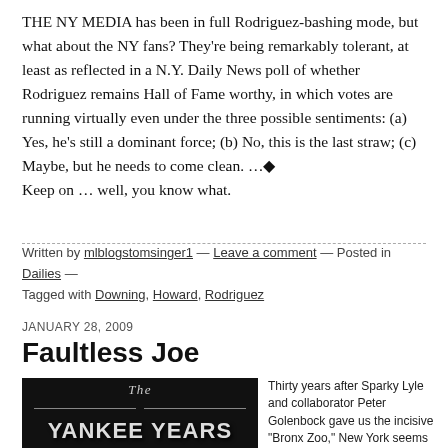THE NY MEDIA has been in full Rodriguez-bashing mode, but what about the NY fans? They're being remarkably tolerant, at least as reflected in a N.Y. Daily News poll of whether Rodriguez remains Hall of Fame worthy, in which votes are running virtually even under the three possible sentiments: (a) Yes, he's still a dominant force; (b) No, this is the last straw; (c) Maybe, but he needs to come clean. …◆
Keep on … well, you know what.
Written by mlblogstomsinger1 — Leave a comment — Posted in Dailies — Tagged with Downing, Howard, Rodriguez
JANUARY 28, 2009
Faultless Joe
[Figure (photo): Book cover image showing 'The Yankee Years' in bold text on dark background]
Thirty years after Sparky Lyle and collaborator Peter Golenbock gave us the incisive "Bronx Zoo," New York seems to be of the